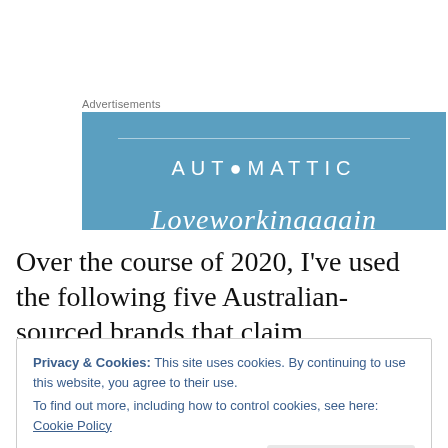Advertisements
[Figure (logo): Automattic advertisement banner with logo and italic tagline text partially visible at bottom]
Over the course of 2020, I've used the following five Australian-sourced brands that claim environmental
Privacy & Cookies: This site uses cookies. By continuing to use this website, you agree to their use.
To find out more, including how to control cookies, see here: Cookie Policy
Close and accept